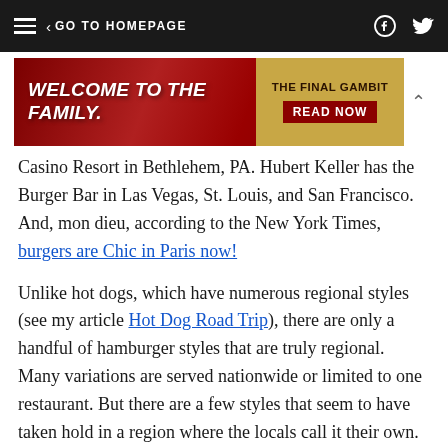GO TO HOMEPAGE
[Figure (illustration): Advertisement banner: red background with 'WELCOME TO THE FAMILY.' text on left, and gold box on right reading 'THE FINAL GAMBIT READ NOW']
Casino Resort in Bethlehem, PA. Hubert Keller has the Burger Bar in Las Vegas, St. Louis, and San Francisco. And, mon dieu, according to the New York Times, burgers are Chic in Paris now!
Unlike hot dogs, which have numerous regional styles (see my article Hot Dog Road Trip), there are only a handful of hamburger styles that are truly regional. Many variations are served nationwide or limited to one restaurant. But there are a few styles that seem to have taken hold in a region where the locals call it their own. If you know of other regional styles, please let me know